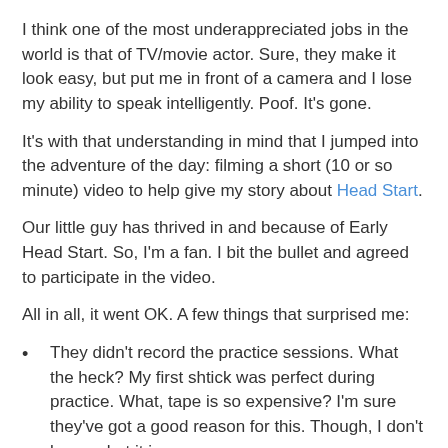I think one of the most underappreciated jobs in the world is that of TV/movie actor. Sure, they make it look easy, but put me in front of a camera and I lose my ability to speak intelligently. Poof. It's gone.
It's with that understanding in mind that I jumped into the adventure of the day: filming a short (10 or so minute) video to help give my story about Head Start.
Our little guy has thrived in and because of Early Head Start. So, I'm a fan. I bit the bullet and agreed to participate in the video.
All in all, it went OK. A few things that surprised me:
They didn't record the practice sessions. What the heck? My first shtick was perfect during practice. What, tape is so expensive? I'm sure they've got a good reason for this. Though, I don't know what it is.
They got what they wanted in one take. I guess that means that I was either hopeless, or did fine.